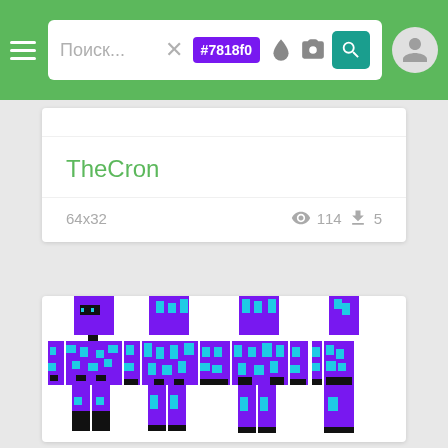Поиск... #7818f0
TheCron
64x32   👁 114  ⬇ 5
[Figure (illustration): Minecraft skin preview showing four views (front, side, back, side) of a purple and cyan character skin named TheCron]